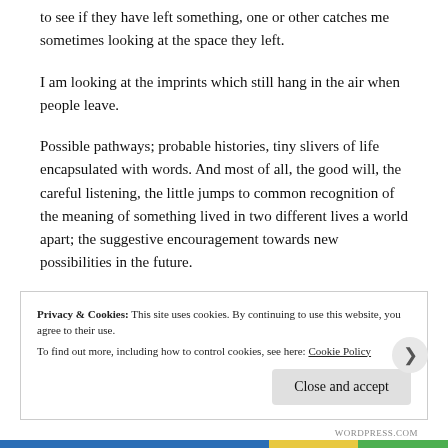to see if they have left something, one or other catches me sometimes looking at the space they left.
I am looking at the imprints which still hang in the air when people leave.
Possible pathways; probable histories, tiny slivers of life encapsulated with words. And most of all, the good will, the careful listening, the little jumps to common recognition of the meaning of something lived in two different lives a world apart; the suggestive encouragement towards new possibilities in the future.
Privacy & Cookies: This site uses cookies. By continuing to use this website, you agree to their use. To find out more, including how to control cookies, see here: Cookie Policy